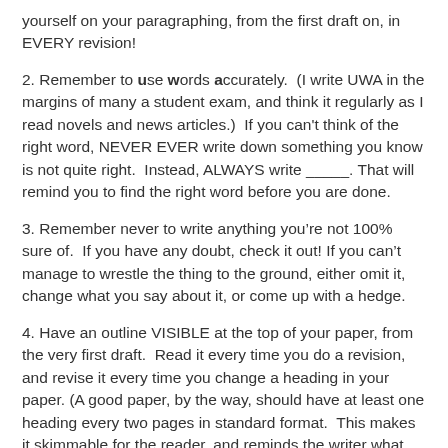yourself on your paragraphing, from the first draft on, in EVERY revision!
2. Remember to use words accurately.  (I write UWA in the margins of many a student exam, and think it regularly as I read novels and news articles.)  If you can't think of the right word, NEVER EVER write down something you know is not quite right.  Instead, ALWAYS write _____. That will remind you to find the right word before you are done.
3. Remember never to write anything you’re not 100% sure of.  If you have any doubt, check it out! If you can’t manage to wrestle the thing to the ground, either omit it, change what you say about it, or come up with a hedge.
4. Have an outline VISIBLE at the top of your paper, from the very first draft.  Read it every time you do a revision, and revise it every time you change a heading in your paper. (A good paper, by the way, should have at least one heading every two pages in standard format.  This makes it skimmable for the reader, and reminds the writer what nis purpose is.)  Keep the outline as